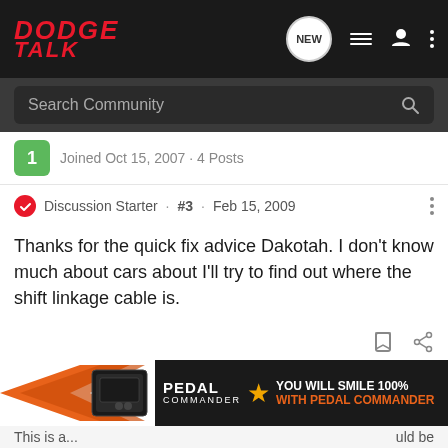DODGE TALK
Search Community
Joined Oct 15, 2007 · 4 Posts
Discussion Starter · #3 · Feb 15, 2009
Thanks for the quick fix advice Dakotah. I don't know much about cars about I'll try to find out where the shift linkage cable is.
1 - 3 of 3
[Figure (screenshot): Advertisement banner for Pedal Commander with orange arrows, device image, logo with star, and text 'YOU WILL SMILE 100% WITH PEDAL COMMANDER']
This is ...                                                         uld be